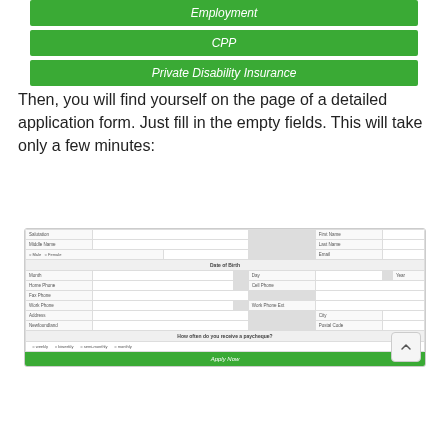Employment
CPP
Private Disability Insurance
Then, you will find yourself on the page of a detailed application form. Just fill in the empty fields. This will take only a few minutes:
[Figure (screenshot): Screenshot of an online application form with fields for Salutation, First Name, Middle Name, Last Name, Male/Female radio buttons, Email, Date of Birth (Month, Day, Year dropdowns), Home Phone, Cell Phone, Fax Phone, Work Phone, Work Phone Ext, Address, City, Newfoundland dropdown, Postal Code, paycheque frequency radio buttons (weekly, biweekly, semi-monthly, monthly), and an Apply Now button.]